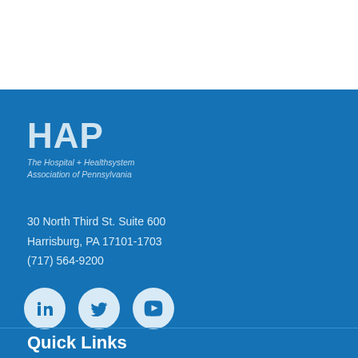[Figure (logo): HAP - The Hospital + Healthsystem Association of Pennsylvania logo in white/light blue on blue background]
30 North Third St. Suite 600
Harrisburg, PA 17101-1703
(717) 564-9200
[Figure (infographic): Social media icons: LinkedIn, Twitter, YouTube — white circles on blue background]
Quick Links